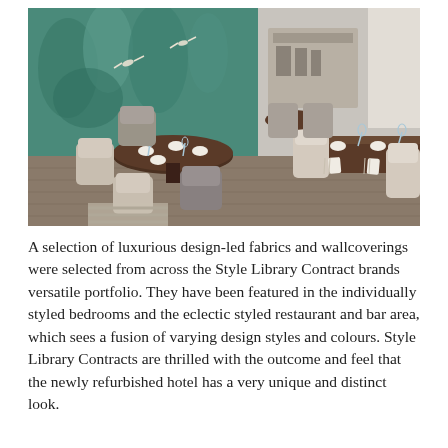[Figure (photo): Interior of a restaurant showing round dining tables with dark wood tops, upholstered chairs in cream and grey patterned fabric, wooden floor, and a decorative teal/green nature-themed wallpaper mural with cranes and tropical foliage on the back wall.]
A selection of luxurious design-led fabrics and wallcoverings were selected from across the Style Library Contract brands versatile portfolio. They have been featured in the individually styled bedrooms and the eclectic styled restaurant and bar area, which sees a fusion of varying design styles and colours. Style Library Contracts are thrilled with the outcome and feel that the newly refurbished hotel has a very unique and distinct look.